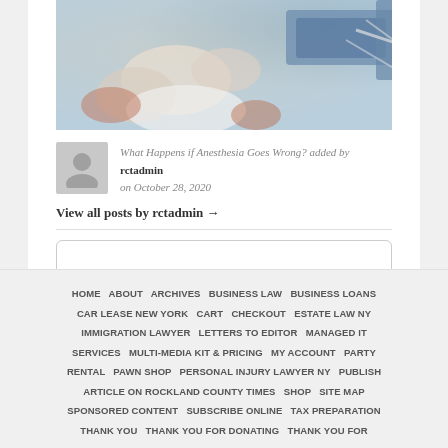[Figure (photo): Medical/anesthesia procedure photo showing gloved hands near medical equipment and tubing, blue medical trays in background]
What Happens if Anesthesia Goes Wrong? added by rctadmin on October 28, 2020
View all posts by rctadmin →
HOME  ABOUT  ARCHIVES  BUSINESS LAW  BUSINESS LOANS  CAR LEASE NEW YORK  CART  CHECKOUT  ESTATE LAW NY  IMMIGRATION LAWYER  LETTERS TO EDITOR  MANAGED IT SERVICES  MULTI-MEDIA KIT & PRICING  MY ACCOUNT  PARTY RENTAL  PAWN SHOP  PERSONAL INJURY LAWYER NY  PUBLISH ARTICLE ON ROCKLAND COUNTY TIMES  SHOP  SITE MAP  SPONSORED CONTENT  SUBSCRIBE ONLINE  TAX PREPARATION  THANK YOU  THANK YOU FOR DONATING  THANK YOU FOR